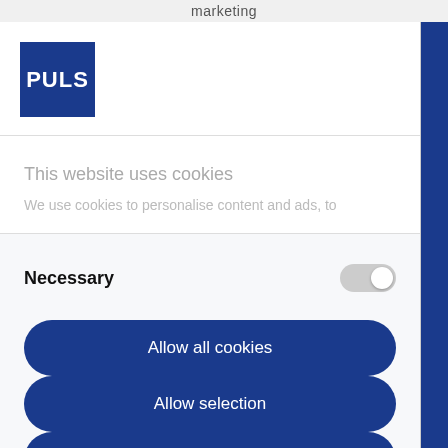marketing
[Figure (logo): PULS logo - white text on blue square background]
This website uses cookies
We use cookies to personalise content and ads, to
Necessary
Allow all cookies
Allow selection
Deny all cookies
Powered by Cookiebot by Usercentrics